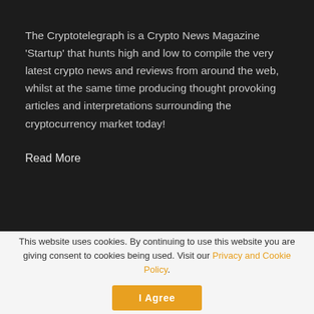The Cryptotelegraph is a Crypto News Magazine 'Startup' that hunts high and low to compile the very latest crypto news and reviews from around the web, whilst at the same time producing thought provoking articles and interpretations surrounding the cryptocurrency market today!
Read More
This website uses cookies. By continuing to use this website you are giving consent to cookies being used. Visit our Privacy and Cookie Policy.